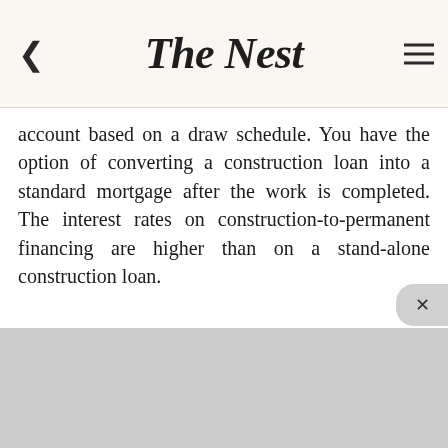The Nest
account based on a draw schedule. You have the option of converting a construction loan into a standard mortgage after the work is completed. The interest rates on construction-to-permanent financing are higher than on a stand-alone construction loan.